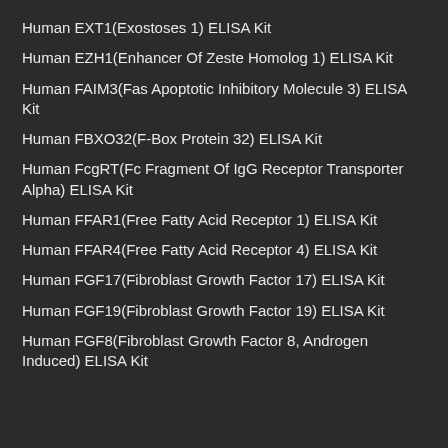Human EXT1(Exostoses 1) ELISA Kit
Human EZH1(Enhancer Of Zeste Homolog 1) ELISA Kit
Human FAIM3(Fas Apoptotic Inhibitory Molecule 3) ELISA Kit
Human FBXO32(F-Box Protein 32) ELISA Kit
Human FcgRT(Fc Fragment Of IgG Receptor Transporter Alpha) ELISA Kit
Human FFAR1(Free Fatty Acid Receptor 1) ELISA Kit
Human FFAR4(Free Fatty Acid Receptor 4) ELISA Kit
Human FGF17(Fibroblast Growth Factor 17) ELISA Kit
Human FGF19(Fibroblast Growth Factor 19) ELISA Kit
Human FGF8(Fibroblast Growth Factor 8, Androgen Induced) ELISA Kit